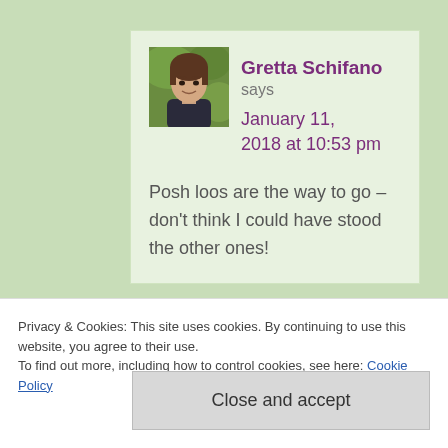Gretta Schifano
says
January 11, 2018 at 10:53 pm
Posh loos are the way to go – don't think I could have stood the other ones!
Privacy & Cookies: This site uses cookies. By continuing to use this website, you agree to their use.
To find out more, including how to control cookies, see here: Cookie Policy
Close and accept